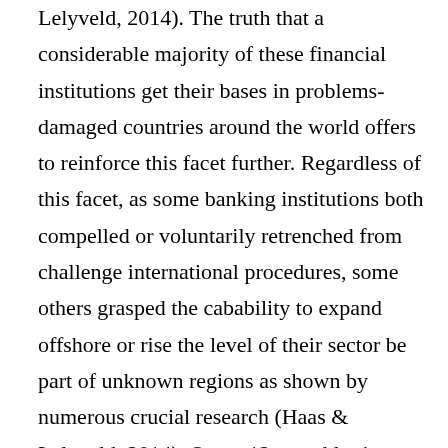Lelyveld, 2014). The truth that a considerable majority of these financial institutions get their bases in problems-damaged countries around the world offers to reinforce this facet further. Regardless of this facet, as some banking institutions both compelled or voluntarily retrenched from challenge international procedures, some others grasped the cabability to expand offshore or rise the level of their sector be part of unknown regions as shown by numerous crucial research (Haas & Lelyveld, 2014). On an 12-monthly time frame, the degree of new international bank entries lowered sharply. The entire year 2013 found the entry of 20-two lenders as compared to an astounding one hundred and 25-two